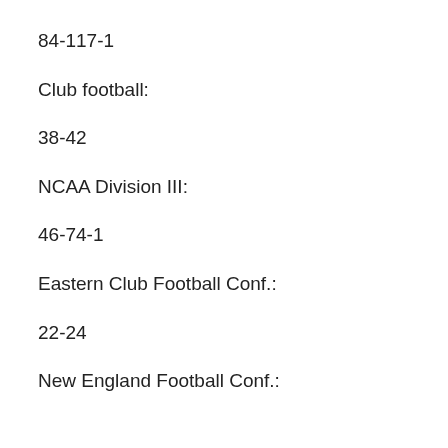84-117-1
Club football:
38-42
NCAA Division III:
46-74-1
Eastern Club Football Conf.:
22-24
New England Football Conf.: